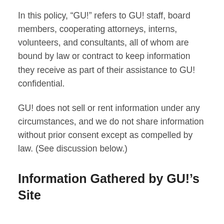In this policy, “GU!” refers to GU! staff, board members, cooperating attorneys, interns, volunteers, and consultants, all of whom are bound by law or contract to keep information they receive as part of their assistance to GU! confidential.
GU! does not sell or rent information under any circumstances, and we do not share information without prior consent except as compelled by law. (See discussion below.)
Information Gathered by GU!’s Site